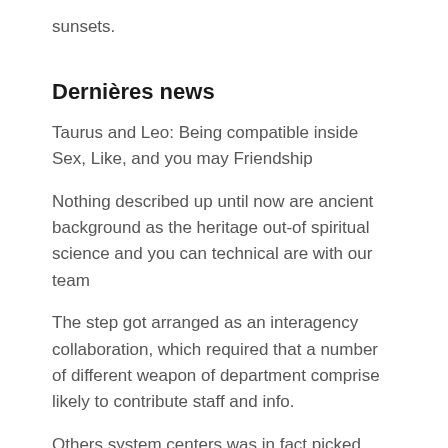sunsets.
Dernières news
Taurus and Leo: Being compatible inside Sex, Like, and you may Friendship
Nothing described up until now are ancient background as the heritage out-of spiritual science and you can technical are with our team
The step got arranged as an interagency collaboration, which required that a number of different weapon of department comprise likely to contribute staff and info.
Others system centers was in fact picked having dispatch
He or she is very competitive and you can strong because adults and prosper within the loose groups